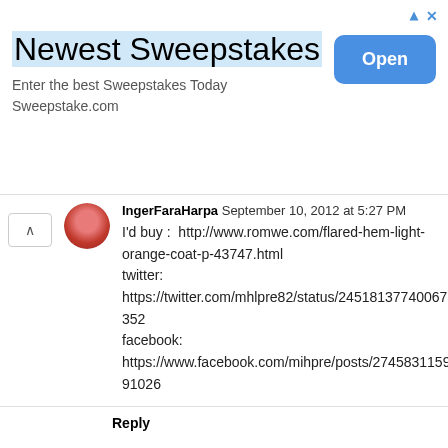[Figure (screenshot): Advertisement banner for 'Newest Sweepstakes' with blue highlighted title, subtitle 'Enter the best Sweepstakes Today Sweepstake.com', and a blue 'Open' button on the right.]
IngerFaraHarpa September 10, 2012 at 5:27 PM
I'd buy : http://www.romwe.com/flared-hem-light-orange-coat-p-43747.html
twitter: https://twitter.com/mhlpre82/status/245181377400676352
facebook: https://www.facebook.com/mihpre/posts/274583115991026
Reply
Lolls September 10, 2012 at 6:20 PM
luckavyle@gmail.com
a asi nejaký svetrík :)